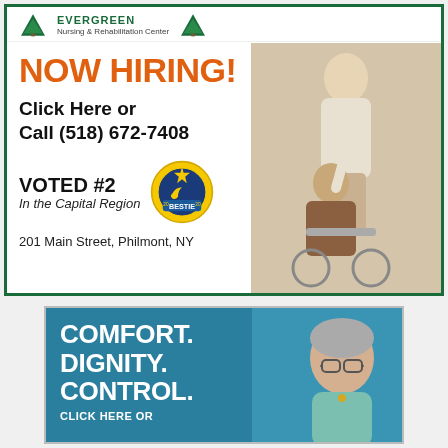[Figure (infographic): Nursing & Rehabilitation Center advertisement with NOW HIRING text, phone number (518) 672-7408, Voted #2 In the Capital Region with Bestie 2020 badge, address 201 Main Street Philmont NY, and photo of nurse with elderly patient in wheelchair]
[Figure (infographic): Second advertisement with teal background showing COMFORT. DIGNITY. CONTROL. CLICK HERE OR text and photo of elderly woman]